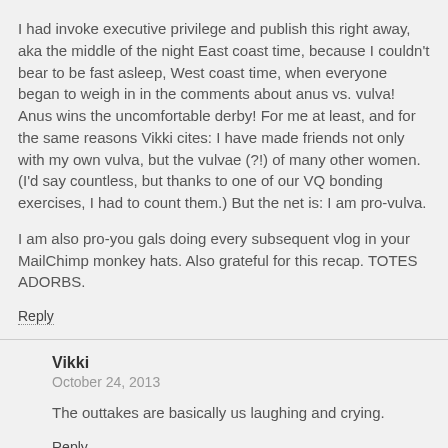I had invoke executive privilege and publish this right away, aka the middle of the night East coast time, because I couldn't bear to be fast asleep, West coast time, when everyone began to weigh in in the comments about anus vs. vulva! Anus wins the uncomfortable derby! For me at least, and for the same reasons Vikki cites: I have made friends not only with my own vulva, but the vulvae (?!) of many other women. (I'd say countless, but thanks to one of our VQ bonding exercises, I had to count them.) But the net is: I am pro-vulva.
I am also pro-you gals doing every subsequent vlog in your MailChimp monkey hats. Also grateful for this recap. TOTES ADORBS.
Reply
Vikki
October 24, 2013
The outtakes are basically us laughing and crying.
Reply